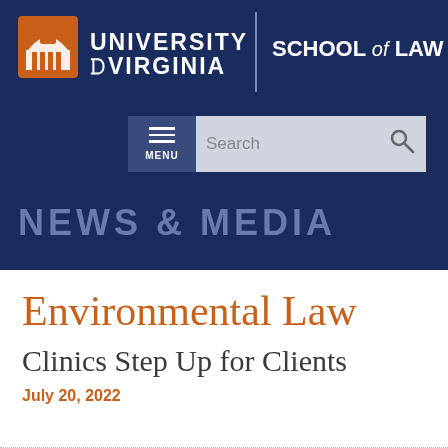[Figure (logo): University of Virginia School of Law logo with UVA rotunda icon in orange and white text on dark navy background]
[Figure (screenshot): Navigation menu button with hamburger icon labeled MENU and a search bar with search icon]
NEWS & MEDIA
Environmental Law
Clinics Step Up for Clients
July 20, 2022